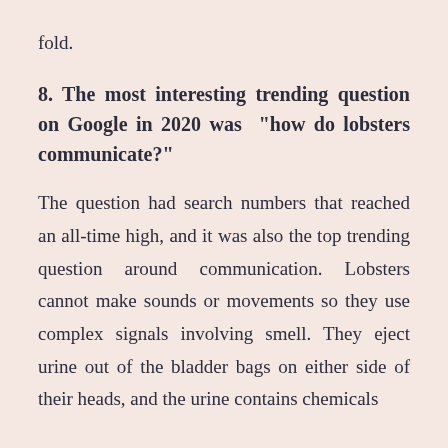fold.
8. The most interesting trending question on Google in 2020 was “how do lobsters communicate?”
The question had search numbers that reached an all-time high, and it was also the top trending question around communication. Lobsters cannot make sounds or movements so they use complex signals involving smell. They eject urine out of the bladder bags on either side of their heads, and the urine contains chemicals